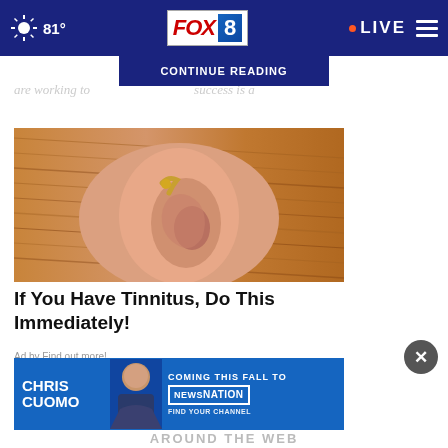81° FOX 8 LIVE
CONTINUE READING
are working to...success is a
[Figure (photo): Close-up photo of a human ear with a hearing aid, belonging to a person with reddish-brown hair]
If You Have Tinnitus, Do This Immediately!
Ad by Find out more!
[Figure (photo): Advertisement banner for Chris Cuomo Coming This Fall to NewsNation - Find Your Channel]
AROUND THE WEB